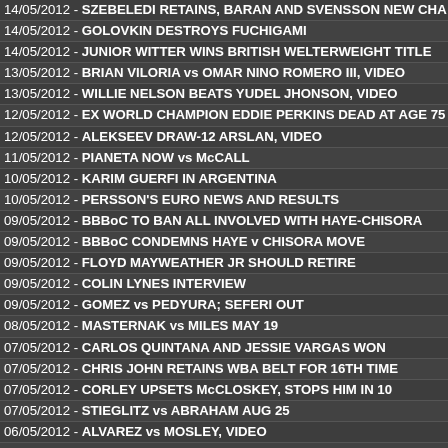14/05/2012 - SZEBELEDI RETAINS, BARAN AND SVENSSON NEW CHA…
14/05/2012 - GOLOVKIN DESTROYS FUCHIGAMI
14/05/2012 - JUNIOR WITTER WINS BRITISH WELTERWEIGHT TITLE
13/05/2012 - BRIAN VILORIA vs OMAR NINO ROMERO III, VIDEO
13/05/2012 - WILLIE NELSON BEATS YUDEL JHONSON, VIDEO
12/05/2012 - EX WORLD CHAMPION EDDIE PERKINS DEAD AT AGE 75
12/05/2012 - ALEKSEEV DRAW-12 ARSLAN, VIDEO
11/05/2012 - PIANETA NOW vs McCALL
10/05/2012 - KARIM GUERFI IN ARGENTINA
10/05/2012 - PERSSON'S EURO NEWS AND RESULTS
09/05/2012 - BBBoC TO BAN ALL INVOLVED WITH HAYE-CHISORA
09/05/2012 - BBBoC CONDEMNS HAYE v CHISORA MOVE
09/05/2012 - FLOYD MAYWEATHER JR SHOULD RETIRE
09/05/2012 - COLIN LYNES INTERVIEW
09/05/2012 - GOMEZ vs PEDYURA; SEFERI OUT
08/05/2012 - MASTERNAK vs MILES MAY 19
07/05/2012 - CARLOS QUINTANA AND JESSIE VARGAS WON
07/05/2012 - CHRIS JOHN RETAINS WBA BELT FOR 16TH TIME
07/05/2012 - CORLEY UPSETS McCLOSKEY, STOPS HIM IN 10
07/05/2012 - STIEGLITZ vs ABRAHAM AUG 25
06/05/2012 - ALVAREZ vs MOSLEY, VIDEO
06/05/2012 - MAYWEATHER JR vs COTTO, VIDEO
06/05/2012 - DEMETRIUS ANDRADE KO-1 RUDY CISNEROS, VIDEO
06/05/2012 - SAUL ALVAREZ BEATS SHANE MOSLEY
06/05/2012 - MAYWEATHER JR BEATS COTTO BY UNANIMOUS DECIS…
06/05/2012 - N'DAM N'JIKAM vs BURSAK VIDEO
06/05/2012 - POPBRAMOOK DEFENDED HIS WBO TITLE…